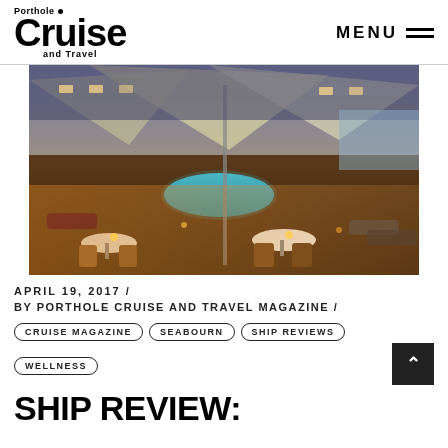Porthole Cruise and Travel | MENU
[Figure (photo): Ship deck photo showing outdoor pool area with shade sails, dining tables, and lounge chairs at dusk, warm lighting throughout]
APRIL 19, 2017 /
BY PORTHOLE CRUISE AND TRAVEL MAGAZINE /
CRUISE MAGAZINE   SEABOURN   SHIP REVIEWS   WELLNESS
SHIP REVIEW: